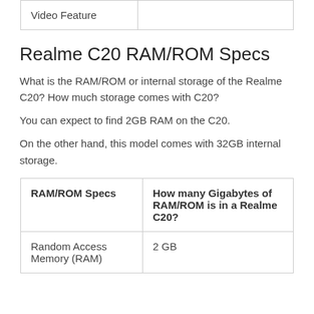| Video Feature |  |
| --- | --- |
Realme C20 RAM/ROM Specs
What is the RAM/ROM or internal storage of the Realme C20? How much storage comes with C20?
You can expect to find 2GB RAM on the C20.
On the other hand, this model comes with 32GB internal storage.
| RAM/ROM Specs | How many Gigabytes of RAM/ROM is in a Realme C20? |
| --- | --- |
| Random Access Memory (RAM) | 2 GB |